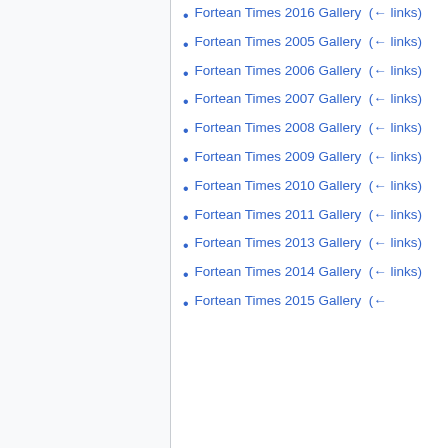Fortean Times 2016 Gallery (← links)
Fortean Times 2005 Gallery (← links)
Fortean Times 2006 Gallery (← links)
Fortean Times 2007 Gallery (← links)
Fortean Times 2008 Gallery (← links)
Fortean Times 2009 Gallery (← links)
Fortean Times 2010 Gallery (← links)
Fortean Times 2011 Gallery (← links)
Fortean Times 2013 Gallery (← links)
Fortean Times 2014 Gallery (← links)
Fortean Times 2015 Gallery (←